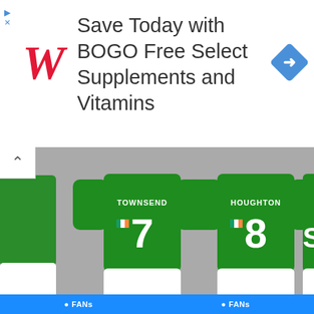[Figure (screenshot): Walgreens advertisement banner: 'Save Today with BOGO Free Select Supplements and Vitamins' with Walgreens W logo and navigation arrow icon]
[Figure (illustration): Green Republic of Ireland football kits showing players numbered 7 (TOWNSEND) and 8 (HOUGHTON) with white shorts on grey background, partially showing a third kit on the right]
KIT HISTORY
Club/Country Number-Swaps, no. 1: Republic of Ireland (Ray Houghton)
2 weeks ago